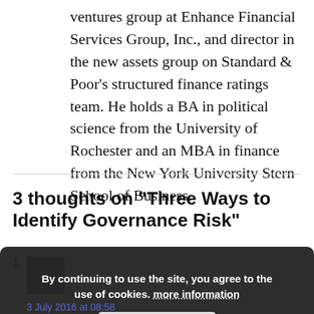ventures group at Enhance Financial Services Group, Inc., and director in the new assets group on Standard & Poor's structured finance ratings team. He holds a BA in political science from the University of Rochester and an MBA in finance from the New York University Stern School of Business.
3 thoughts on "Three Ways to Identify Governance Risk"
1.
[Figure (photo): Small avatar/profile photo placeholder]
By continuing to use the site, you agree to the use of cookies. more information
Accept
3 July 2016 at 08:58